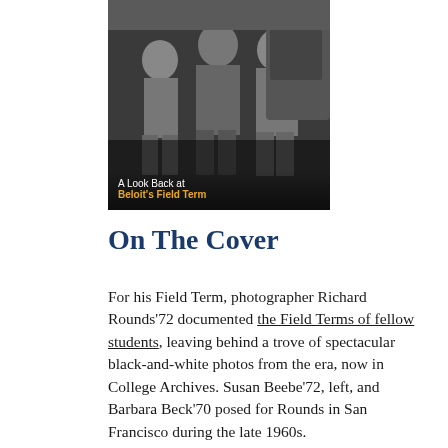[Figure (photo): Black-and-white photograph of students during Beloit's Field Term, with overlay text 'A Look Back at Beloit's Field Term' in white and gold.]
On The Cover
For his Field Term, photographer Richard Rounds'72 documented the Field Terms of fellow students, leaving behind a trove of spectacular black-and-white photos from the era, now in College Archives. Susan Beebe'72, left, and Barbara Beck'70 posed for Rounds in San Francisco during the late 1960s.